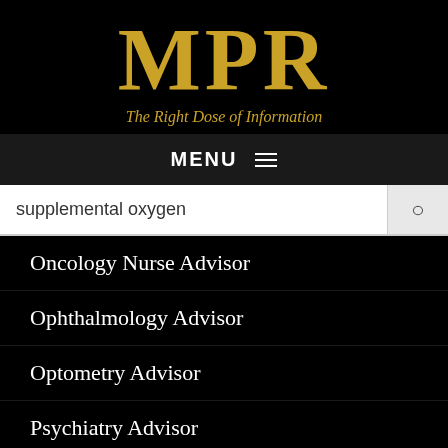[Figure (logo): MPR logo with tagline 'The Right Dose of Information' on black background]
MENU ≡
supplemental oxygen
Oncology Nurse Advisor
Ophthalmology Advisor
Optometry Advisor
Psychiatry Advisor
Pulmonology Advisor
Rare Disease Advisor